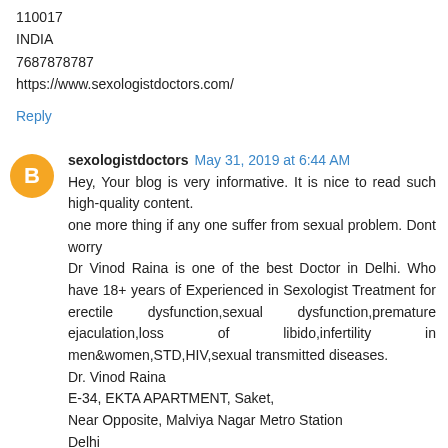110017
INDIA
7687878787
https://www.sexologistdoctors.com/
Reply
sexologistdoctors May 31, 2019 at 6:44 AM
Hey, Your blog is very informative. It is nice to read such high-quality content.
one more thing if any one suffer from sexual problem. Dont worry
Dr Vinod Raina is one of the best Doctor in Delhi. Who have 18+ years of Experienced in Sexologist Treatment for erectile dysfunction,sexual dysfunction,premature ejaculation,loss of libido,infertility in men&women,STD,HIV,sexual transmitted diseases.
Dr. Vinod Raina
E-34, EKTA APARTMENT, Saket,
Near Opposite, Malviya Nagar Metro Station
Delhi
110017